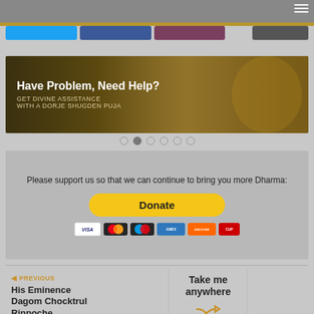[Figure (screenshot): Website header with hamburger menu icon and gold/olive bottom border]
[Figure (infographic): Banner image with text: Have Problem, Need Help? GET DIVINE ASSISTANCE WITH A DORJE SHUGDEN PUJA, with golden Buddhist imagery background]
[Figure (other): Carousel navigation dots, 6 total, second dot active]
Please support us so that we can continue to bring you more Dharma:
[Figure (other): PayPal Donate button with payment method icons: Visa, Mastercard, Maestro, American Express, Discover, UnionPay]
PREVIOUS
His Eminence Dagom Chocktrul Rinpoche
Take me anywhere